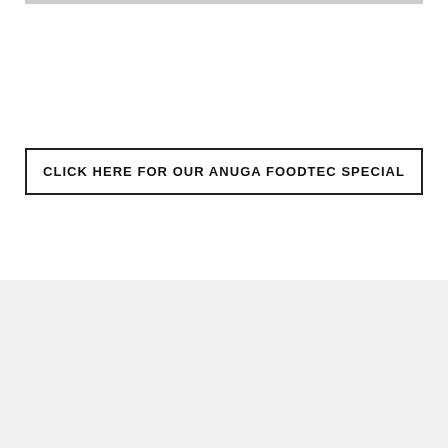CLICK HERE FOR OUR ANUGA FOODTEC SPECIAL
PRODUCTS
Functions
Applications
Re-engineered machines